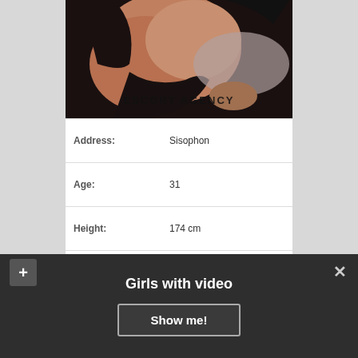[Figure (photo): Cropped photo of a person in black lingerie lying on a bed, with watermark text 'ESCORT AGENCY' overlaid at the bottom.]
| Field | Value |
| --- | --- |
| Address: | Sisophon |
| Age: | 31 |
| Height: | 174 cm |
| WEIGHT: | 66 kg |
| Time to call ☎: | 10:00 – 22:00 |
| Body: | 89-60-92 |
| Sex | Deep Throat, Massage |
Girls with video
Show me!